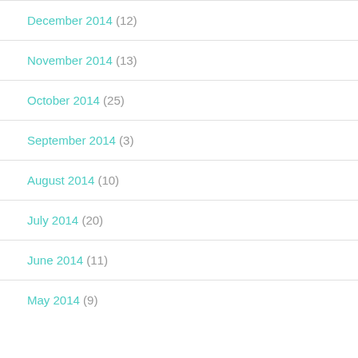December 2014 (12)
November 2014 (13)
October 2014 (25)
September 2014 (3)
August 2014 (10)
July 2014 (20)
June 2014 (11)
May 2014 (9)